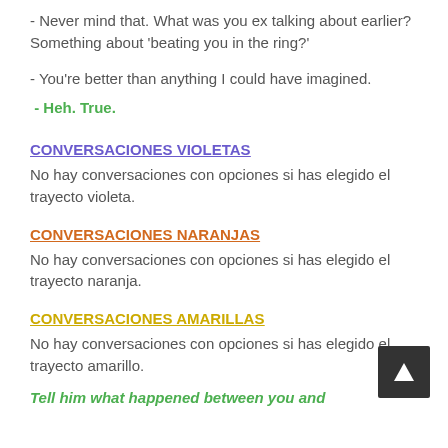- Never mind that. What was you ex talking about earlier? Something about 'beating you in the ring?'
- You're better than anything I could have imagined.
- Heh. True.
CONVERSACIONES VIOLETAS
No hay conversaciones con opciones si has elegido el trayecto violeta.
CONVERSACIONES NARANJAS
No hay conversaciones con opciones si has elegido el trayecto naranja.
CONVERSACIONES AMARILLAS
No hay conversaciones con opciones si has elegido el trayecto amarillo.
Tell him what happened between you and